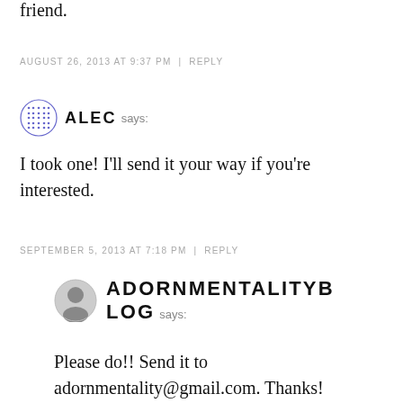friend.
AUGUST 26, 2013 AT 9:37 PM | REPLY
ALEC says:
I took one! I'll send it your way if you're interested.
SEPTEMBER 5, 2013 AT 7:18 PM | REPLY
ADORNMENTALITYBLOG says:
Please do!! Send it to adornmentality@gmail.com. Thanks!